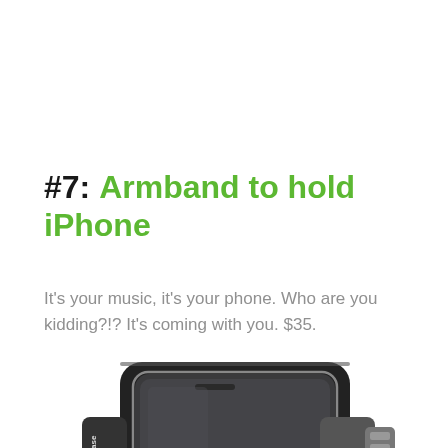#7: Armband to hold iPhone
It's your music, it's your phone. Who are you kidding?!? It's coming with you. $35.
[Figure (photo): Black sports armband holding an iPhone, with the Incase logo visible on the strap, showing the phone holder from above against a white background]